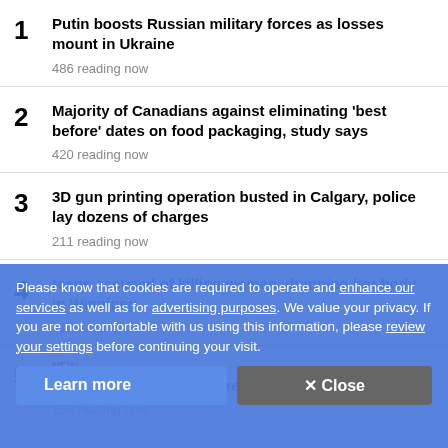1 Putin boosts Russian military forces as losses mount in Ukraine
486 reading now
2 Majority of Canadians against eliminating 'best before' dates on food packaging, study says
420 reading now
3 3D gun printing operation busted in Calgary, police lay dozens of charges
211 reading now
Please know that cookies are required to operate and enhance our services as well as for advertising purposes. We value your privacy. If you are not comfortable with us using this information, please review your settings before continuing your visit.
4 [partially obscured] teens accused of killing woman, dumping her body in Winnipeg
117 reading now
5 NEW Judge orders release of redacted search affidavit
108 reading now